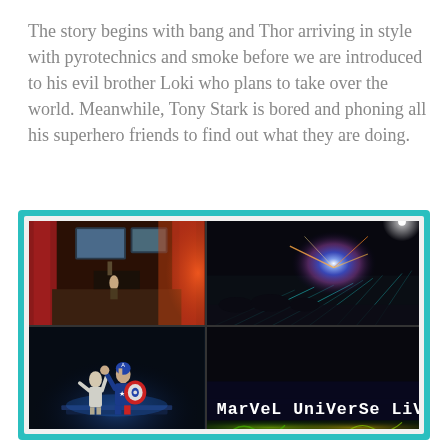The story begins with bang and Thor arriving in style with pyrotechnics and smoke before we are introduced to his evil brother Loki who plans to take over the world. Meanwhile, Tony Stark is bored and phoning all his superhero friends to find out what they are doing.
[Figure (photo): Photo collage with teal/turquoise border containing four photos from Marvel Universe Live show: top-left shows a stage with screens and red curtains, top-right shows pyrotechnics/explosion on a dark arena floor, bottom-left shows two performers costumed as Captain America and another character on a lit stage, bottom-right shows a Marvel Universe Live logo text overlay on a dark background with a bottom strip showing green/yellow lighting.]